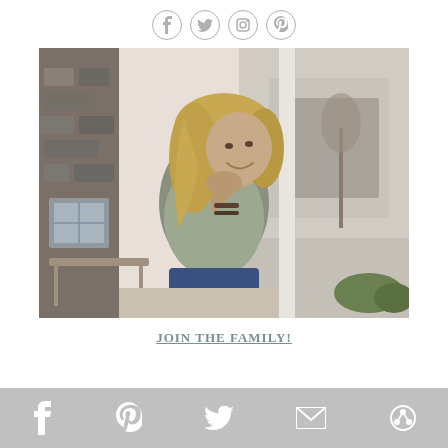[Figure (other): Row of four social media icon circles: Facebook, Twitter, Instagram, Pinterest]
[Figure (photo): A smiling blonde woman sitting on a porch bench, resting her chin on her hand, wearing a grey t-shirt and jeans, with a house exterior and trees visible in the background]
JOIN THE FAMILY!
[Figure (other): Bottom share bar with five white social sharing icons on grey background: Facebook, Pinterest, Twitter, Email, and a circular share icon]